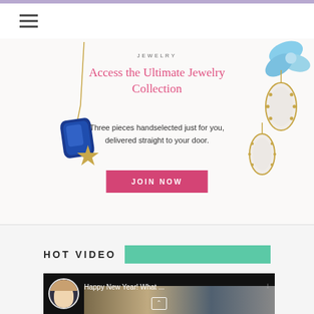[Figure (illustration): Jewelry advertisement banner showing a blue pendant necklace, star charm, and oval drop earrings with floral decoration]
Access the Ultimate Jewelry Collection
Three pieces handselected just for you, delivered straight to your door.
JOIN NOW
HOT VIDEO
[Figure (screenshot): Video thumbnail showing a woman with blonde hair, title text 'Happy New Year! What ...' with video controls]